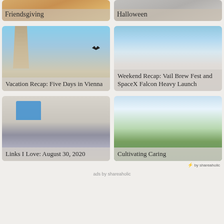[Figure (photo): Friendsgiving blog post card with warm golden background]
Friendsgiving
[Figure (photo): Halloween blog post card with grey background]
Halloween
[Figure (photo): Vacation Recap: Five Days in Vienna - gothic church tower with bird in blue sky]
Vacation Recap: Five Days in Vienna
[Figure (photo): Weekend Recap: Vail Brew Fest and SpaceX Falcon Heavy Launch - rocket launch image]
Weekend Recap: Vail Brew Fest and SpaceX Falcon Heavy Launch
[Figure (photo): Links I Love: August 30, 2020 - person at laptop]
Links I Love: August 30, 2020
[Figure (photo): Cultivating Caring - mountain landscape with snow-capped peaks and trees]
Cultivating Caring
by shareaholic
ads by shareaholic